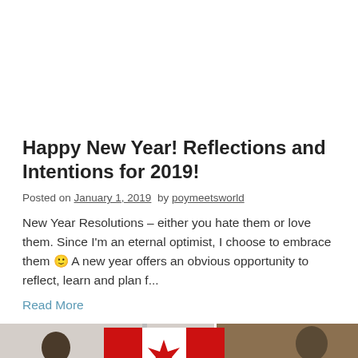Happy New Year! Reflections and Intentions for 2019!
Posted on January 1, 2019  by poymeetsworld
New Year Resolutions – either you hate them or love them. Since I'm an eternal optimist, I choose to embrace them 🙂 A new year offers an obvious opportunity to reflect, learn and plan f...
Read More
[Figure (photo): A photo showing people with a Canadian flag in an indoor setting, partially cropped at the bottom of the page.]